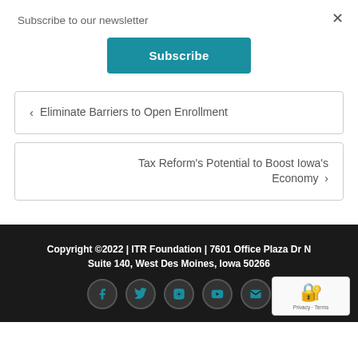Subscribe to our newsletter
×
Subscribe
‹ Eliminate Barriers to Open Enrollment
Tax Reform's Potential to Boost Iowa's Economy ›
Copyright ©2022 | ITR Foundation | 7601 Office Plaza Dr N Suite 140, West Des Moines, Iowa 50266